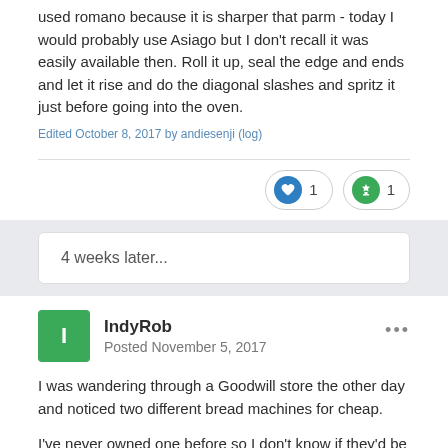used romano because it is sharper that parm - today I would probably use Asiago but I don't recall it was easily available then. Roll it up, seal the edge and ends and let it rise and do the diagonal slashes and spritz it just before going into the oven.
Edited October 8, 2017 by andiesenji (log)
4 weeks later...
IndyRob
Posted November 5, 2017
I was wandering through a Goodwill store the other day and noticed two different bread machines for cheap.
I've never owned one before so I don't know if they'd be worth a gamble.  But seeing as how it appears we have a new bread